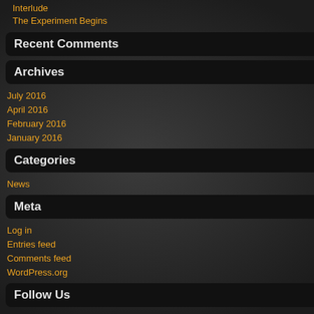Interlude
The Experiment Begins
Recent Comments
Archives
July 2016
April 2016
February 2016
January 2016
Categories
News
Meta
Log in
Entries feed
Comments feed
WordPress.org
Follow Us
[Figure (other): Social media icons: Facebook, Twitter, RSS]
Holden's eyes flew open with a start, supposed to be working. He felt a ha back out of the vat and into the slight
It took him a moment to process wha knew Famke was berating him, but h hadn't been there…
"..what would you have done, eh?" sh the same thing he was thinking. Or w couldn't tell sometimes. "You have go you killed."
He turned to look at his friend, his ey bring her into focus, but she was unn making her presence known when sh had an intensity to her that came unl out from under the short curly hair sh blazed in contrast to her dark skin, a shorter than anyone at the factory. If easily make the mistake of dismissin they would know better. And if they d home. She wasn't the kind of girl to le
Right now, she was focusing all of tha probably wouldn't be the last, but he still too rattled. She stood there with